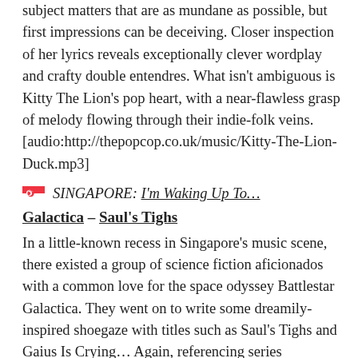subject matters that are as mundane as possible, but first impressions can be deceiving. Closer inspection of her lyrics reveals exceptionally clever wordplay and crafty double entendres. What isn't ambiguous is Kitty The Lion's pop heart, with a near-flawless grasp of melody flowing through their indie-folk veins. [audio:http://thepopcop.co.uk/music/Kitty-The-Lion-Duck.mp3]
🇸🇬   SINGAPORE: I'm Waking Up To…
Galactica – Saul's Tighs
In a little-known recess in Singapore's music scene, there existed a group of science fiction aficionados with a common love for the space odyssey Battlestar Galactica. They went on to write some dreamily-inspired shoegaze with titles such as Saul's Tighs and Gaius Is Crying… Again, referencing series characters Colonel Saul Tigh and Dr Gaius Baltar. While the concept is an inside joke, the music is anything but. Their songcraft and taste in melodies evoke an immense sense of loss in the immeasurable vastness of space. It takes you back to the heyday of science fiction when the